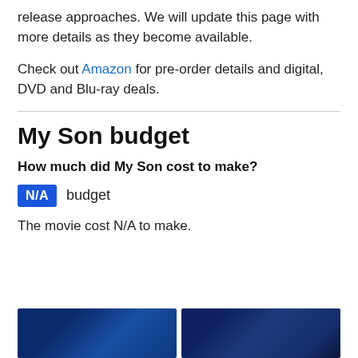release approaches. We will update this page with more details as they become available.
Check out Amazon for pre-order details and digital, DVD and Blu-ray deals.
My Son budget
How much did My Son cost to make?
N/A budget
The movie cost N/A to make.
[Figure (photo): Two movie-related images side by side at the bottom of the page, both with dark blue tones]